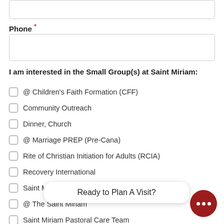Phone *
I am interested in the Small Group(s) at Saint Miriam:
@ Children's Faith Formation (CFF)
Community Outreach
Dinner, Church
@ Marriage PREP (Pre-Cana)
Rite of Christian Initiation for Adults (RCIA)
Recovery International
Saint Miriam Café and Hospitality
@ The Saint Miriam… b
Saint Miriam Pastoral Care Team
Ready to Plan A Visit?